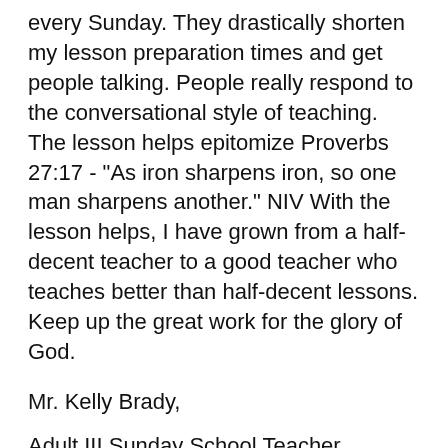every Sunday. They drastically shorten my lesson preparation times and get people talking. People really respond to the conversational style of teaching. The lesson helps epitomize Proverbs 27:17 - "As iron sharpens iron, so one man sharpens another." NIV With the lesson helps, I have grown from a half-decent teacher to a good teacher who teaches better than half-decent lessons. Keep up the great work for the glory of God.
Mr. Kelly Brady,
Adult III Sunday School Teacher
Faith Baptist Church
Wichita Falls, TX.
I have been a frequent user od Good Questions for a few years now as a Sunday School teacher of adults between the ages of 30 and 60. The lessons have been invaluable in not only providing me with many questions I use but also in